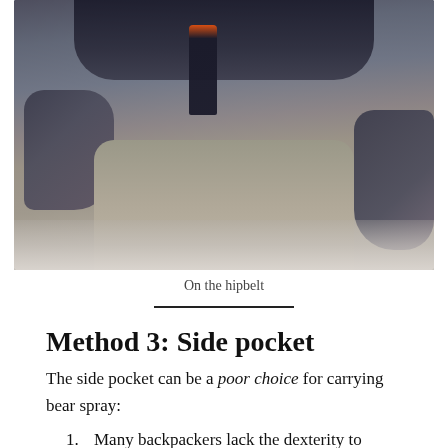[Figure (photo): Person wearing hiking gear with bear spray canister in hipbelt holster, standing on rocky terrain with ice/snow visible]
On the hipbelt
Method 3: Side pocket
The side pocket can be a poor choice for carrying bear spray:
Many backpackers lack the dexterity to easily access these pockets, and
Many side pockets are poorly designed and